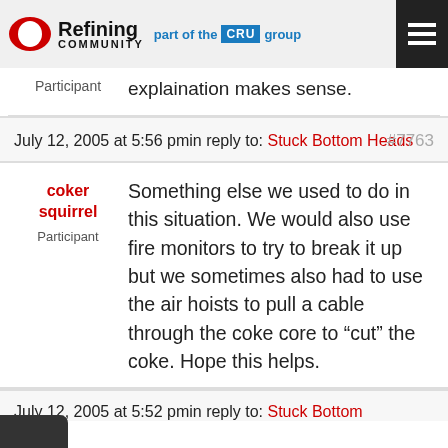Refining Community — part of the CRU group
Participant
explaination makes sense.
July 12, 2005 at 5:56 pmin reply to: Stuck Bottom Heads #7763
coker squirrel
Participant
Something else we used to do in this situation. We would also use fire monitors to try to break it up but we sometimes also had to use the air hoists to pull a cable through the coke core to “cut” the coke. Hope this helps.
July 12, 2005 at 5:52 pmin reply to: Stuck Bottom